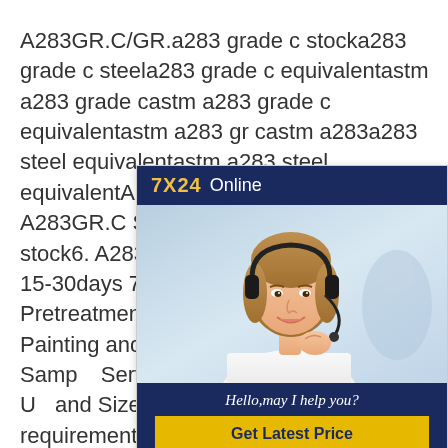A283GR.C/GR.a283 grade c stocka283 grade c steela283 grade c equivalentastm a283 grade castm a283 grade c equivalentastm a283 gr castm a283a283 steel equivalentastm a283 steel equivalentA283GR.C, ASTM A283 A283GR.C Steel Plate, A283GR.C grade c stock6. A283GR.C Delivery Or Lead Time 15-30days 7. A283GR.C Extra Service Pretreatment (Shot Blasting, Sand Blast, Painting and Galvanized), Cutting Parts, Sample Service, Third Party inspection, UT and Size inspection. 8. If you have any requirement in steel plate for A283GR.C, whether the new plate or stock list of material, please feel free to contact us by email of calling.
[Figure (infographic): Online chat widget with '7X24 Online' header in dark navy background with yellow text, a photo of a female customer service representative wearing a headset, a dark navy footer with italic text 'Hello,may I help you?' and a yellow 'Get Latest Price' button.]